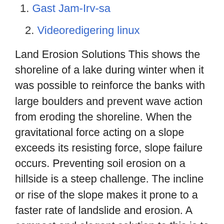1. Gast Jam-Irv-sa
2. Videoredigering linux
Land Erosion Solutions This shows the shoreline of a lake during winter when it was possible to reinforce the banks with large boulders and prevent wave action from eroding the shoreline. When the gravitational force acting on a slope exceeds its resisting force, slope failure occurs. Preventing soil erosion on a hillside is a steep challenge. The incline or rise of the slope makes it prone to a faster rate of landslide and erosion. A compact and elegant solution to this is to terrace your hill.
Så här skapas några av innehållets viktiga delar